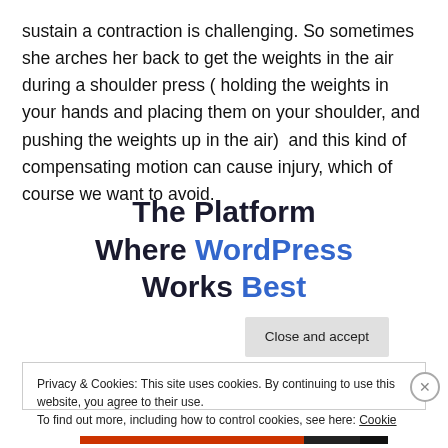sustain a contraction is challenging. So sometimes she arches her back to get the weights in the air during a shoulder press ( holding the weights in your hands and placing them on your shoulder, and pushing the weights up in the air)  and this kind of compensating motion can cause injury, which of course we want to avoid.
The Platform Where WordPress Works Best
Privacy & Cookies: This site uses cookies. By continuing to use this website, you agree to their use.
To find out more, including how to control cookies, see here: Cookie Policy